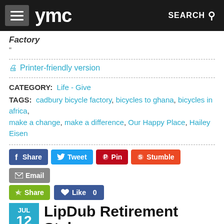ymc SEARCH
Factory
"
🖨 Printer-friendly version
CATEGORY: Life - Give
TAGS: cadbury bicycle factory, bicycles to ghana, bicycles in africa, make a change, make a difference, Our Happy Place, Hailey Eisen
[Figure (screenshot): Social sharing buttons: Share (Facebook), Tweet, Pin, Stumble, Email, Share (green), Like 0]
LipDub Retirement Style
JUL 12 2011